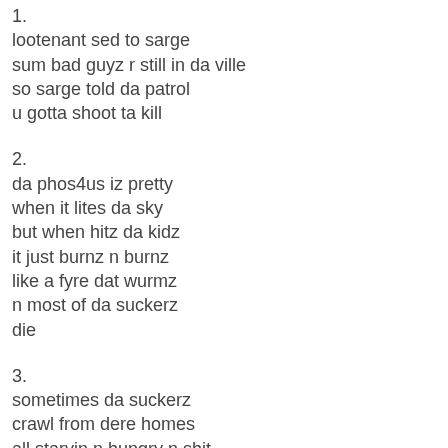1.
lootenant sed to sarge
sum bad guyz r still in da ville
so sarge told da patrol
u gotta shoot ta kill
2.
da phos4us iz pretty
when it lites da sky
but when hitz da kidz
it just burnz n burnz
like a fyre dat wurmz
n most of da suckerz
die
3.
sometimes da suckerz
crawl from dere homes
all starvin n hungry n shit.
sarge dont like it
he tellz em where to shove it